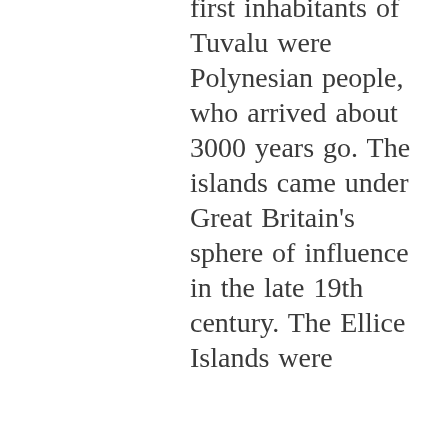first inhabitants of Tuvalu were Polynesian people, who arrived about 3000 years go. The islands came under Great Britain's sphere of influence in the late 19th century. The Ellice Islands were